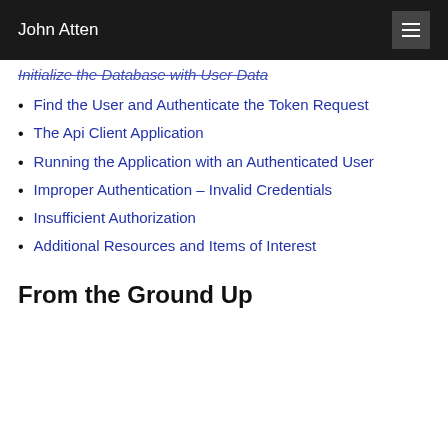John Atten
Initialize the Database with User Data
Find the User and Authenticate the Token Request
The Api Client Application
Running the Application with an Authenticated User
Improper Authentication – Invalid Credentials
Insufficient Authorization
Additional Resources and Items of Interest
From the Ground Up